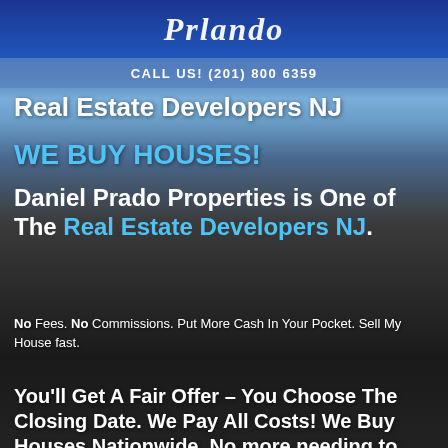[Figure (logo): Script logo in white on dark blue background]
CALL US! (201) 800 6359
Real Estate Developers NJ
WE BUY HOUSES!
Daniel Prado Properties is One of The Real Estate Developers NJ.
No Fees. No Commissions. Put More Cash In Your Pocket. Sell My House fast.
You'll Get A Fair Offer – You Choose The Closing Date. We Pay All Costs! We Buy Houses Nationwide. No more needing to search for Real Estate Developers